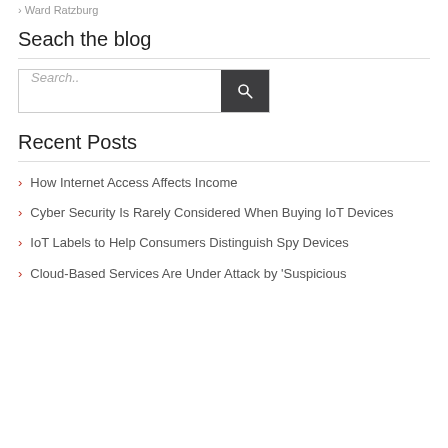> Ward Ratzburg
Seach the blog
Search..
Recent Posts
How Internet Access Affects Income
Cyber Security Is Rarely Considered When Buying IoT Devices
IoT Labels to Help Consumers Distinguish Spy Devices
Cloud-Based Services Are Under Attack by 'Suspicious